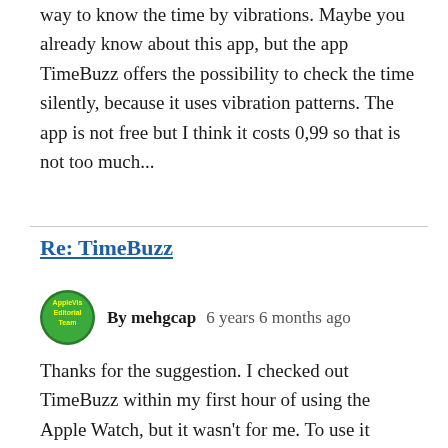way to know the time by vibrations. Maybe you already know about this app, but the app TimeBuzz offers the possibility to check the time silently, because it uses vibration patterns. The app is not free but I think it costs 0,99 so that is not too much...
Re: TimeBuzz
By mehgcap   6 years 6 months ago
Thanks for the suggestion. I checked out TimeBuzz within my first hour of using the Apple Watch, but it wasn't for me. To use it effectively, you must mute the Watch; set it to load the last thing you were doing instead of